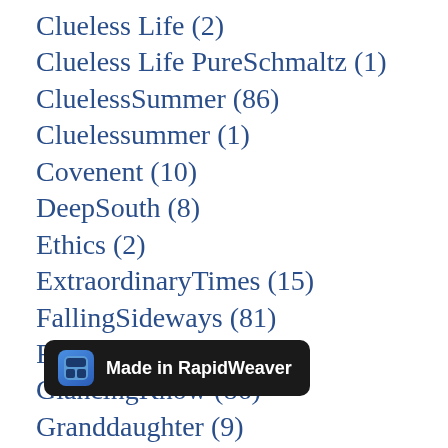Clueless Life (2)
Clueless Life PureSchmaltz (1)
CluelessSummer (86)
Cluelessummer (1)
Covenent (10)
DeepSouth (8)
Ethics (2)
ExtraordinaryTimes (15)
FallingSideways (81)
FindingHome (71)
GlancingKnow (86)
Granddaughter (9)
HeadingHomeward (87)
HeadingHomeward (1)
Homeless (2)